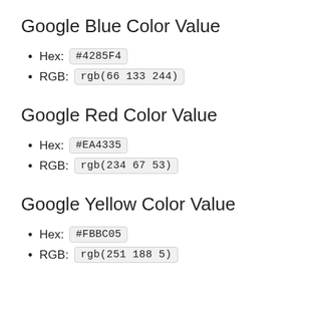Google Blue Color Value
Hex: #4285F4
RGB: rgb(66 133 244)
Google Red Color Value
Hex: #EA4335
RGB: rgb(234 67 53)
Google Yellow Color Value
Hex: #FBBC05
RGB: rgb(251 188 5)